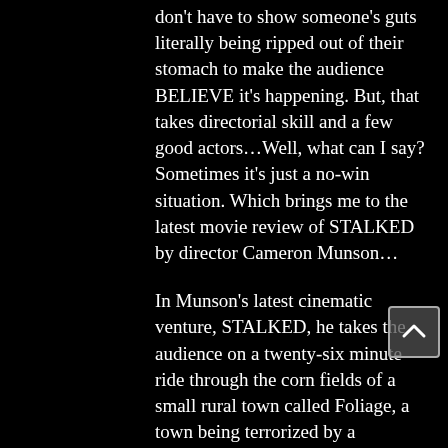don't have to show someone's guts literally being ripped out of their stomach to make the audience BELIEVE it's happening. But, that takes directorial skill and a few good actors…Well, what can I say? Sometimes it's just a no-win situation. Which brings me to the latest movie review of STALKED by director Cameron Munson…
In Munson's latest cinematic venture, STALKED, he takes the audience on a twenty-six minute ride through the corn fields of a small rural town called Foliage, a town being terrorized by a legendary cannibalistic farmer named, you guessed it, Farmer Bill. Fow...